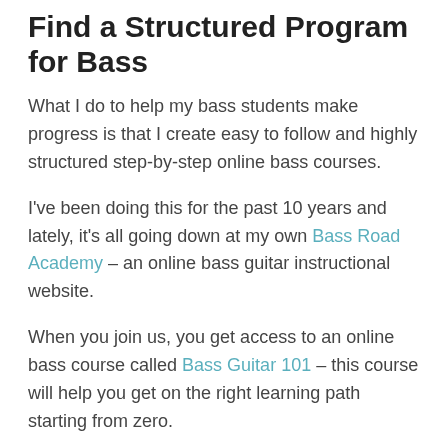Find a Structured Program for Bass
What I do to help my bass students make progress is that I create easy to follow and highly structured step-by-step online bass courses.
I've been doing this for the past 10 years and lately, it's all going down at my own Bass Road Academy – an online bass guitar instructional website.
When you join us, you get access to an online bass course called Bass Guitar 101 – this course will help you get on the right learning path starting from zero.